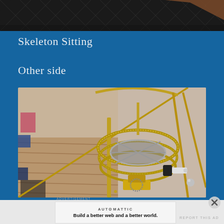[Figure (photo): Top portion of a dark textured surface with a decorative diamond pattern and what appears to be a leather or metal object, cropped view]
Skeleton Sitting
Other side
[Figure (photo): Close-up photo of brass mechanical gears and rods arranged in a skeletal or mechanical sculpture form, with circular gear rings stacked and metal support rods, on a wooden workshop surface]
ADVERTISEMENT
[Figure (logo): Automattic logo with text 'Build a better web and a better world.']
REPORT THIS AD